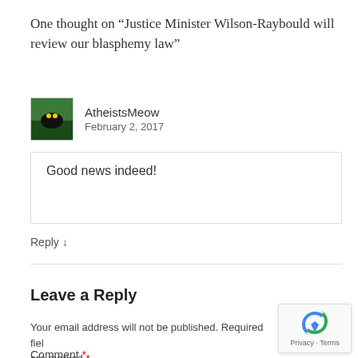One thought on “Justice Minister Wilson-Raybould will review our blasphemy law”
AtheistsMeow
February 2, 2017
Good news indeed!
Reply ↓
Leave a Reply
Your email address will not be published. Required fields are marked *
Comment *